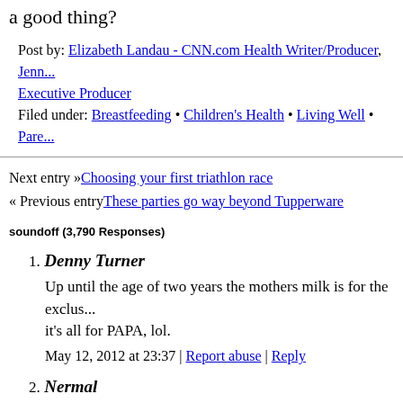a good thing?
Post by: Elizabeth Landau - CNN.com Health Writer/Producer, Jenn... Executive Producer
Filed under: Breastfeeding • Children's Health • Living Well • Pare...
Next entry »Choosing your first triathlon race
« Previous entryThese parties go way beyond Tupperware
soundoff (3,790 Responses)
1. Denny Turner
Up until the age of two years the mothers milk is for the exclus... it's all for PAPA, lol.
May 12, 2012 at 23:37 | Report abuse | Reply
2. Nermal
My wife breastfed both of our kids. But not when they were ag... Keith....when they can get something out for themselves, then... though he didn't say boob. It makes me wonder IF there is som... would does this age age three, four, etc: doesn't want to give u... want to even though it may be time to wean the child? Additio...